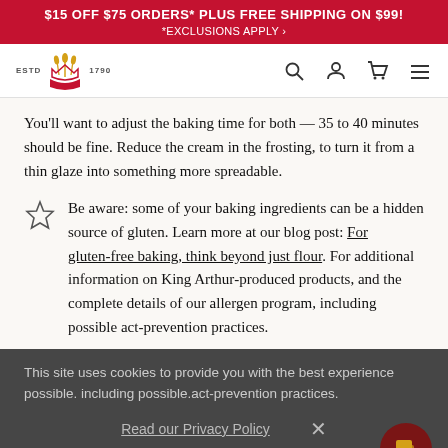$15 OFF $75 ORDERS* PLUS FREE SHIPPING ON $99! *EXCLUSIONS APPLY >
[Figure (logo): King Arthur Flour logo with crown/wheat icon, ESTD 1790 text]
You'll want to adjust the baking time for both — 35 to 40 minutes should be fine. Reduce the cream in the frosting, to turn it from a thin glaze into something more spreadable.
Be aware: some of your baking ingredients can be a hidden source of gluten. Learn more at our blog post: For gluten-free baking, think beyond just flour. For additional information on King Arthur-produced products, and the complete details of our allergen program, including possible act-prevention practices.
This site uses cookies to provide you with the best experience possible. Read our Privacy Policy
SHARE